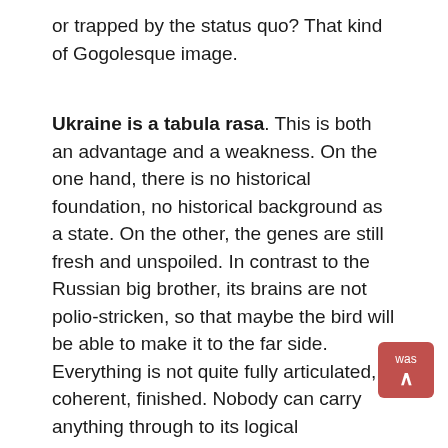or trapped by the status quo? That kind of Gogolesque image.
Ukraine is a tabula rasa. This is both an advantage and a weakness. On the one hand, there is no historical foundation, no historical background as a state. On the other, the genes are still fresh and unspoiled. In contrast to the Russian big brother, its brains are not polio-stricken, so that maybe the bird will be able to make it to the far side. Everything is not quite fully articulated, coherent, finished. Nobody can carry anything through to its logical completion. The plotters didn't quite manage to poison the president. And the journalist Georgi Gongadze was killed because, I think, no such order was given: the order was not to kill him, but to scare him. Whatever we look at, we see it is crumbling, haphazard, amorphous. A stone loosed from a catapult should be aimed at the head. Instead, if it does fly, it goes into a void.